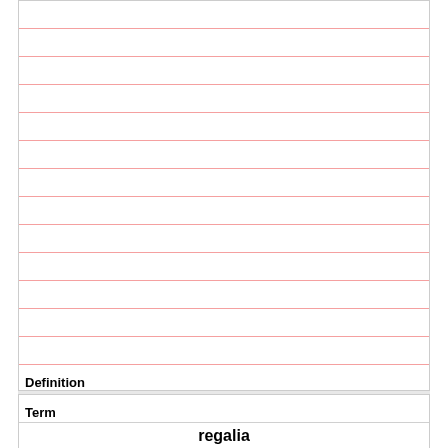Definition
Mighty; powerful; forceful
Term
regalia